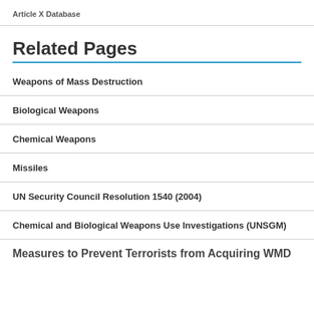Article X Database
Related Pages
Weapons of Mass Destruction
Biological Weapons
Chemical Weapons
Missiles
UN Security Council Resolution 1540 (2004)
Chemical and Biological Weapons Use Investigations (UNSGM)
Measures to Prevent Terrorists from Acquiring WMD